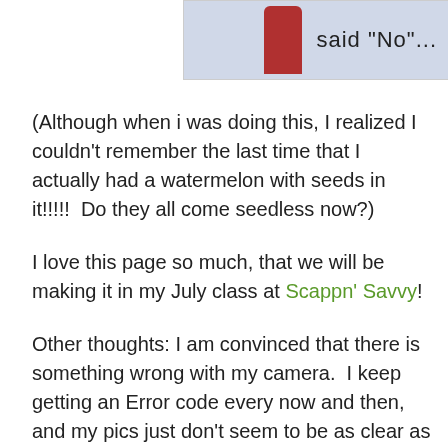[Figure (illustration): Partial image showing a red figure and the text 'said "No"' on a light blue/grey background]
(Although when i was doing this, I realized I couldn't remember the last time that I actually had a watermelon with seeds in it!!!!!  Do they all come seedless now?)
I love this page so much, that we will be making it in my July class at Scappn' Savvy!
Other thoughts: I am convinced that there is something wrong with my camera.  I keep getting an Error code every now and then, and my pics just don't seem to be as clear as they used to be!  I am thinking about investing in a new one....that is if hubby will let me! :)